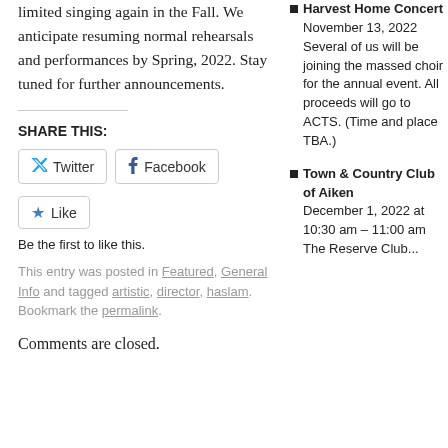limited singing again in the Fall. We anticipate resuming normal rehearsals and performances by Spring, 2022. Stay tuned for further announcements.
SHARE THIS:
Twitter | Facebook | Like
Be the first to like this.
This entry was posted in Featured, General Info and tagged artistic, director, haslam. Bookmark the permalink.
Comments are closed.
Harvest Home Concert
November 13, 2022
Several of us will be joining the massed choir for the annual event. All proceeds will go to ACTS. (Time and place TBA.)
Town & Country Club of Aiken
December 1, 2022 at 10:30 am – 11:00 am
The Reserve Club...